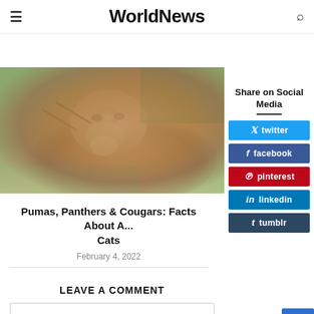WorldNews
[Figure (photo): A puma/cougar resting, close-up photograph with warm brown/golden tones, natural outdoor background]
Share on Social Media
twitter
facebook
pinterest
linkedin
tumblr
Pumas, Panthers & Cougars: Facts About A... Cats
February 4, 2022
LEAVE A COMMENT
Your Comment